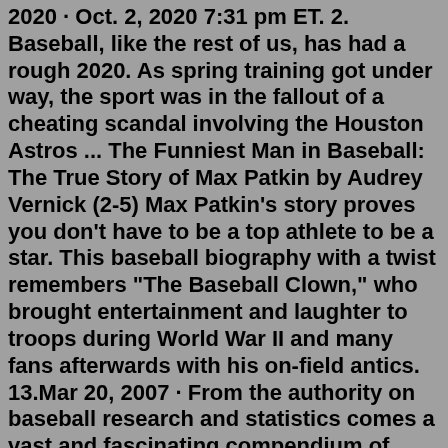2020 · Oct. 2, 2020 7:31 pm ET. 2. Baseball, like the rest of us, has had a rough 2020. As spring training got under way, the sport was in the fallout of a cheating scandal involving the Houston Astros ... The Funniest Man in Baseball: The True Story of Max Patkin by Audrey Vernick (2-5) Max Patkin's story proves you don't have to be a top athlete to be a star. This baseball biography with a twist remembers "The Baseball Clown," who brought entertainment and laughter to troops during World War II and many fans afterwards with his on-field antics. 13.Mar 20, 2007 · From the authority on baseball research and statistics comes a vast and fascinating compendium of unique baseball lists and records. The SABR Baseball List & Record Book is an expansive collection of pitching, hitting, fielding, home run, team, and rookie records not available online or in any other book. Clear rating. 1 of 5 stars 2 of 5 stars 3 of 5 stars 4 of 5 stars 5 of 5 stars. 2. Shoeless Joe. by. W.P. Kinsella. 3.97 avg rating — 14,454 ratings. score: 3,558 , and 36 people voted. Want to Read. Mar 20, 2007 · From the